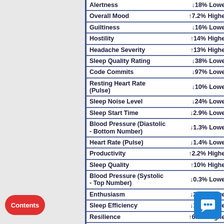| Metric | Change |
| --- | --- |
| Alertness | ↓18% Lower |
| Overall Mood | ↑7.2% Higher |
| Guiltiness | ↓16% Lower |
| Hostility | ↑14% Higher |
| Headache Severity | ↑13% Higher |
| Sleep Quality Rating | ↓38% Lower |
| Code Commits | ↓97% Lower |
| Resting Heart Rate (Pulse) | ↓10% Lower |
| Sleep Noise Level | ↓24% Lower |
| Sleep Start Time | ↓2.9% Lower |
| Blood Pressure (Diastolic - Bottom Number) | ↓1.3% Lower |
| Heart Rate (Pulse) | ↓1.4% Lower |
| Productivity | ↑2.2% Higher |
| Sleep Quality | ↑10% Higher |
| Blood Pressure (Systolic - Top Number) | ↓0.3% Lower |
| Enthusiasm | ↓2.4% Lower |
| Sleep Efficiency | ↓1.5% Lower |
| Resilience | ↑6.1% Higher |
| Distress | ↓37% Lower |